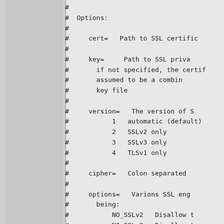# 
#  Options:
#
#     cert=   Path to SSL certific
#
#     key=    Path to SSL priva
#       if not specified, the certif
#       assumed to be a combin
#       key file
#
#     version=   The version of S
#            1   automatic (default)
#            2   SSLv2 only
#            3   SSLv3 only
#            4   TLSv1 only
#
#     cipher=   Colon separated
#
#     options=  Varions SSL eng
#       being:
#           NO_SSLv2  Disallow t
#           NO_SSLv3  Disallow t
#           NO_TLSv1  Disallow t
#       See src/ssl_support.c or
#       for a more complete list.
#